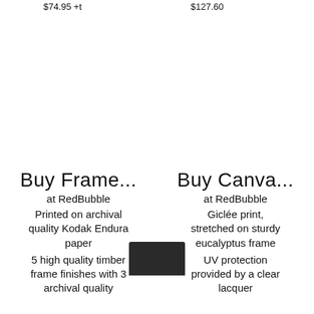$74.95 +t        $127.60
Buy Frame...
at RedBubble
Printed on archival quality Kodak Endura paper
5 high quality timber frame finishes with 3 archival quality
Buy Canva...
at RedBubble
Giclée print, stretched on sturdy eucalyptus frame
UV protection provided by a clear lacquer